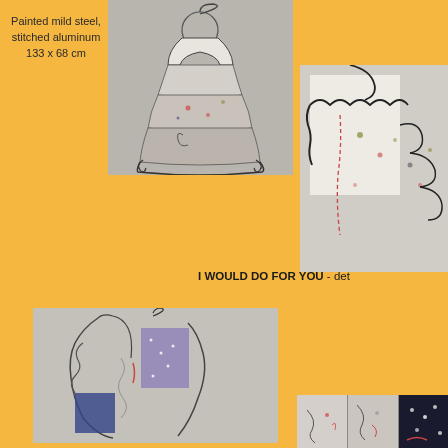Painted mild steel, stitched aluminum 133 x 68 cm
[Figure (photo): Wire dress sculpture photographed against grey background, showing a dress form made of painted mild steel with stitched aluminum panels decorated with floral patterns]
[Figure (photo): Close-up detail of wire dress sculpture showing stitched aluminum panels with red thread and decorative wire elements against white/grey background]
I WOULD DO FOR YOU - det
[Figure (photo): Another view of wire dress sculpture with patchwork fabric panels including blue and red patterned fabric, against grey wall]
[Figure (photo): Horizontal strip detail photograph showing close-up panels of the stitched aluminum artwork]